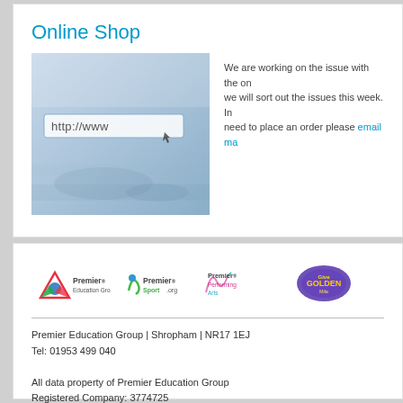Online Shop
[Figure (photo): Browser address bar showing http://www on a blueish background]
We are working on the issue with the online shop, we will sort out the issues this week. In the meantime if you need to place an order please email ma...
[Figure (logo): Premier Education Group, Premier Sport.org, Premier Performing Arts, Golden Mile logos]
Premier Education Group | Shropham | NR17 1EJ
Tel: 01953 499 040

All data property of Premier Education Group
Registered Company: 3774725